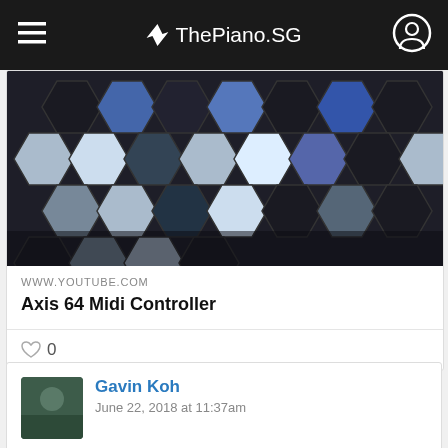ThePiano.SG
[Figure (screenshot): Screenshot of a YouTube embed card showing hexagonal keyboard keys (Chromatone/Axis 64 Midi Controller) with blue and dark colored hexagonal buttons]
WWW.YOUTUBE.COM
Axis 64 Midi Controller
♡ 0
Gavin Koh
June 22, 2018 at 11:37am
Weird models #3: Chromatone keyboards are sci-fi personified...
https://www.youtube.com/watch?v=N_9pbku5j8g